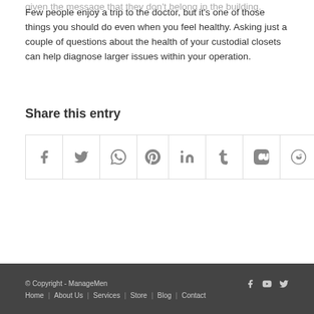given the message that they don't belong in the building.
Few people enjoy a trip to the doctor, but it's one of those things you should do even when you feel healthy. Asking just a couple of questions about the health of your custodial closets can help diagnose larger issues within your operation.
Share this entry
[Figure (infographic): A row of social sharing icon buttons: Facebook, Twitter, WhatsApp, Pinterest, LinkedIn, Tumblr, VK, Reddit, Mail]
© Copyright - ManageMen  |  Home  |  About Us  |  Services  |  Store  |  Blog  |  Contact